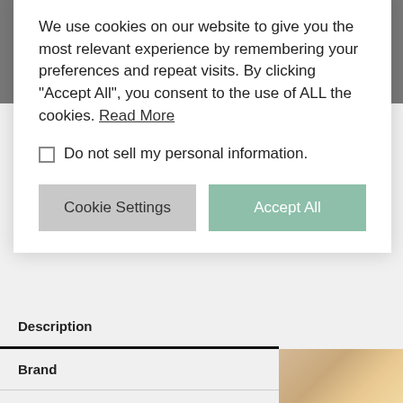kkami
Stock estimate: Likely (partially) sold out
Published: June 14, 2022
Categories: Child, Child unisex
Tag: Summer 2022
Brands: Neneru
Description
Brand
Sizing
Additional inform
We use cookies on our website to give you the most relevant experience by remembering your preferences and repeat visits. By clicking “Accept All”, you consent to the use of ALL the cookies. Read More
Do not sell my personal information.
Cookie Settings
Accept All